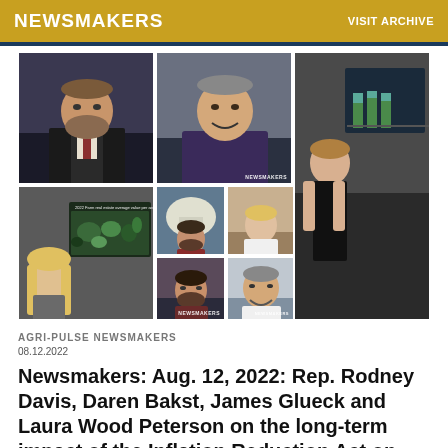NEWSMAKERS   VISIT ARCHIVE
[Figure (photo): Grid of video call thumbnails featuring multiple news segment participants including reporters and interviewees; shows a US farm real estate map and a bar chart on screens in background]
AGRI-PULSE NEWSMAKERS
08.12.2022
Newsmakers: Aug. 12, 2022: Rep. Rodney Davis, Daren Bakst, James Glueck and Laura Wood Peterson on the long-term impact of the Inflation Reduction Act on